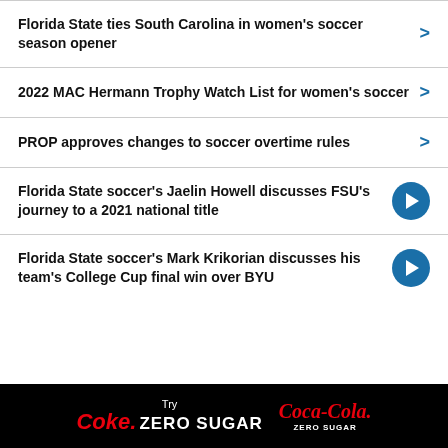Florida State ties South Carolina in women's soccer season opener
2022 MAC Hermann Trophy Watch List for women's soccer
PROP approves changes to soccer overtime rules
Florida State soccer's Jaelin Howell discusses FSU's journey to a 2021 national title
Florida State soccer's Mark Krikorian discusses his team's College Cup final win over BYU
[Figure (logo): Coke Zero Sugar and Coca-Cola Zero Sugar advertisement banner on black background]